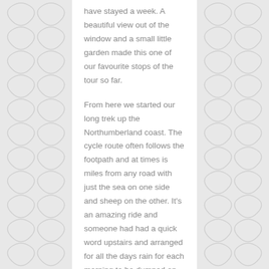have stayed a week. A beautiful view out of the window and a small little garden made this one of our favourite stops of the tour so far.
From here we started our long trek up the Northumberland coast. The cycle route often follows the footpath and at times is miles from any road with just the sea on one side and sheep on the other. It's an amazing ride and someone had had a quick word upstairs and arranged for all the days rain for each morning to be dumped on us between 10am and 11am and for bright sunshine to follow for the rest of the day.
So each day we set off, cycled through a monsoon for an hour (and in one case just hid behind a rock with our brolly up as it was just too wet to cycle) and then spent the rest